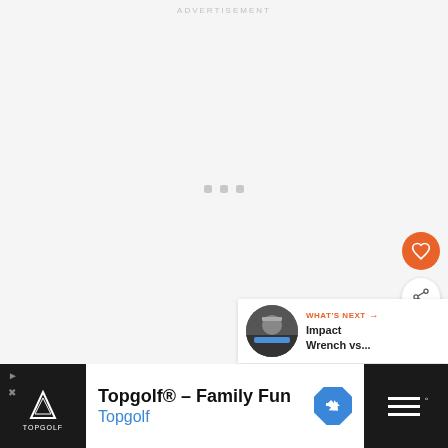ADVERTISEMENT
[Figure (other): Loading indicator with three small gray squares centered in a light gray content area]
[Figure (other): Orange circular button with white heart icon (favorite/like button)]
[Figure (other): White circular button with share/network icon]
[Figure (other): WHAT'S NEXT card with thumbnail image and title 'Impact Wrench vs...']
[Figure (other): Bottom advertisement bar: Topgolf logo on black background on left, white area with Topgolf Family Fun ad text and blue nav arrow, black area with menu icon on right. Close X button visible.]